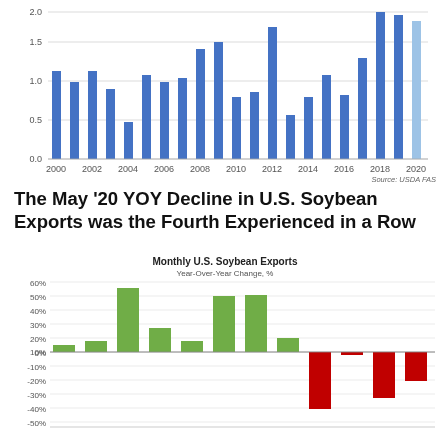[Figure (bar-chart): Annual U.S. Soybean Exports]
Source: USDA FAS
The May '20 YOY Decline in U.S. Soybean Exports was the Fourth Experienced in a Row
[Figure (bar-chart): Monthly U.S. Soybean Exports]